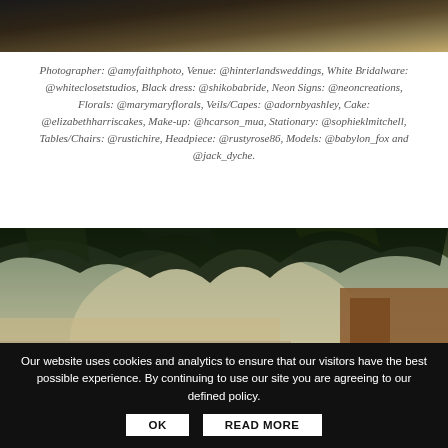[Figure (photo): Top portion of a wedding photo showing draped fabric and decorative elements in warm tones]
Photographer: @amyfaithphoto, Venue: @hinterlandsweddings, White Bridalware: @whiteclosetstudios, Black dress: @shikobabride, Neon Signs: @neoncreations, Florals: @marymaryflorals, Veils/Capes: @adornbyashley, Cake: @elizabethharriscakes, Make-up: @hcarson_mua, Stationary: @sophieklmitchell, Tables/Chairs: @rustichire, Headpiece: @rustyrose86, Models: @babylon_fox and @jack_dyche.
[Figure (photo): Outdoor wedding venue photo showing trees arching over a white tent structure with a wooden door, with overlaid text 'Hirst Priory — Wedding']
Our website uses cookies and analytics to ensure that our visitors have the best possible experience. By continuing to use our site you are agreeing to our defined policy.